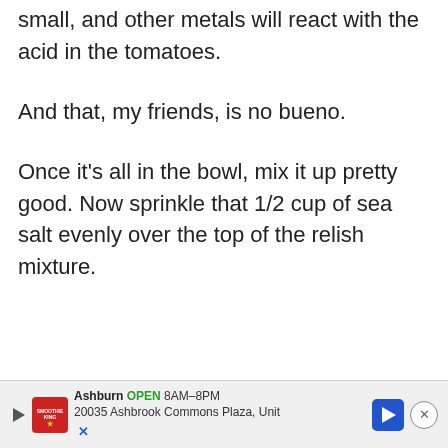small, and other metals will react with the acid in the tomatoes.
And that, my friends, is no bueno.
Once it's all in the bowl, mix it up pretty good. Now sprinkle that 1/2 cup of sea salt evenly over the top of the relish mixture.
[Figure (other): Advertisement banner for Smoothie King at Ashburn location. Shows: play icon, Smoothie King logo, 'Ashburn OPEN 8AM-8PM 20035 Ashbrook Commons Plaza, Unit', navigation arrow icon, and close (X) button.]